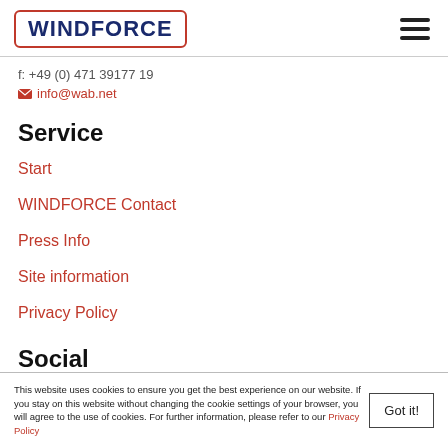WINDFORCE
f: +49 (0) 471 39177 19
info@wab.net
Service
Start
WINDFORCE Contact
Press Info
Site information
Privacy Policy
Social
This website uses cookies to ensure you get the best experience on our website. If you stay on this website without changing the cookie settings of your browser, you will agree to the use of cookies. For further information, please refer to our Privacy Policy